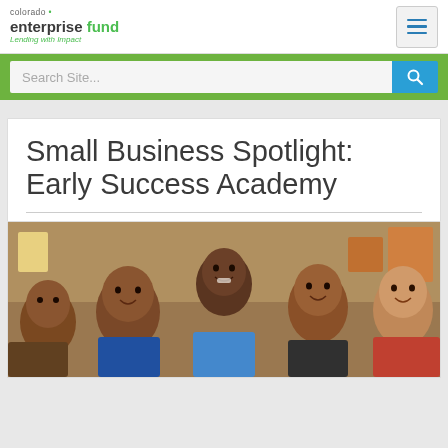[Figure (logo): Colorado Enterprise Fund logo with tagline 'Lending with Impact']
[Figure (other): Hamburger menu button icon (three horizontal blue lines)]
Search Site...
Small Business Spotlight: Early Success Academy
[Figure (photo): Group photo of a woman and several children smiling, in a classroom setting]